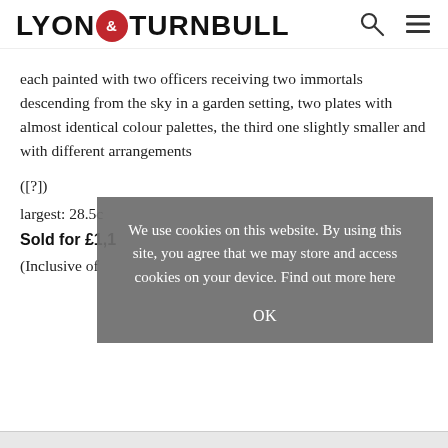LYON & TURNBULL
each painted with two officers receiving two immortals descending from the sky in a garden setting, two plates with almost identical colour palettes, the third one slightly smaller and with different arrangements
([?])
largest: 28.5c
Sold for £1,1
(Inclusive of
[Figure (screenshot): Cookie consent overlay with text: We use cookies on this website. By using this site, you agree that we may store and access cookies on your device. Find out more here. OK button.]